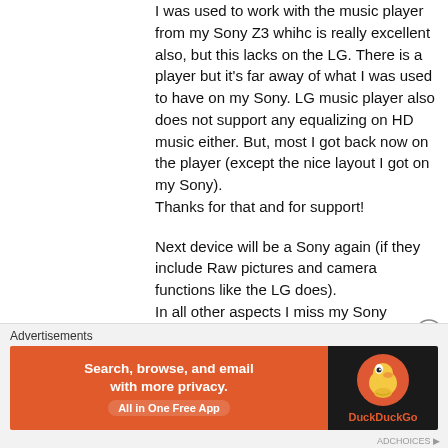I was used to work with the music player from my Sony Z3 whihc is really excellent also, but this lacks on the LG. There is a player but it's far away of what I was used to have on my Sony. LG music player also does not support any equalizing on HD music either. But, most I got back now on the player (except the nice layout I got on my Sony).
Thanks for that and for support!

Next device will be a Sony again (if they include Raw pictures and camera functions like the LG does).
In all other aspects I miss my Sony
Advertisements
[Figure (other): DuckDuckGo advertisement banner: orange left panel with text 'Search, browse, and email with more privacy. All in One Free App' and dark right panel with DuckDuckGo duck logo]